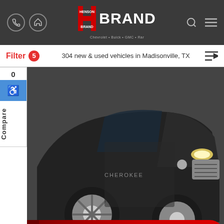Henson Brand dealership header with phone, directions icons, logo, search and menu icons
Filter 5  304 new & used vehicles in Madisonville, TX
[Figure (photo): Black 2015 Jeep Cherokee Latitude SUV front 3/4 view with red dealership banner overlay reading 'Call Or Text Us 936-241-9217' and Henson Brand Facebook logo]
2015 Jeep Cherokee Latitude  $17,991
Stock #: 791182P  Miles: 56,669  Interior: Black  Est. payment: $225 /mo
27 views